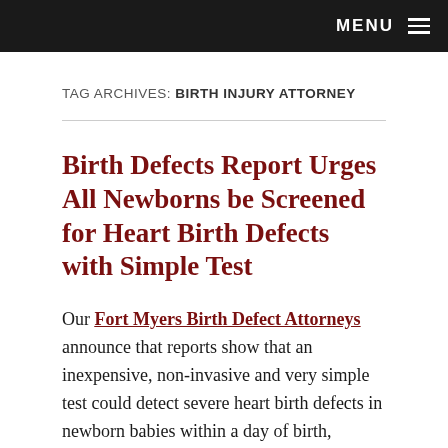MENU ≡
TAG ARCHIVES: BIRTH INJURY ATTORNEY
Birth Defects Report Urges All Newborns be Screened for Heart Birth Defects with Simple Test
Our Fort Myers Birth Defect Attorneys announce that reports show that an inexpensive, non-invasive and very simple test could detect severe heart birth defects in newborn babies within a day of birth, possibly sparing them from more serious